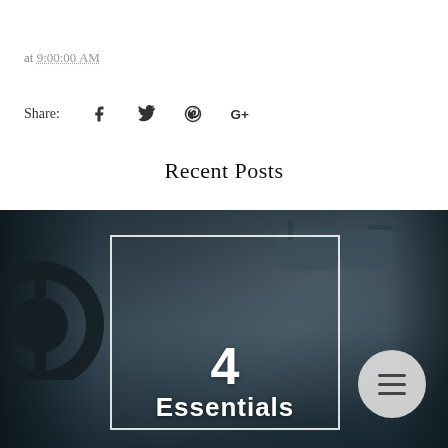at 9:00:00 AM
Share:
Recent Posts
[Figure (photo): Car interior photo showing steering wheel and rearview mirror, used as background for a blog post thumbnail. A white-bordered rectangle overlays the center with the number '4' and partial text 'Essentials'. A circular hamburger menu button appears in the lower right.]